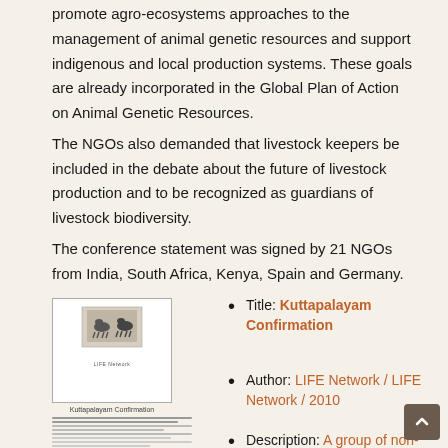promote agro-ecosystems approaches to the management of animal genetic resources and support indigenous and local production systems. These goals are already incorporated in the Global Plan of Action on Animal Genetic Resources.
The NGOs also demanded that livestock keepers be included in the debate about the future of livestock production and to be recognized as guardians of livestock biodiversity.
The conference statement was signed by 21 NGOs from India, South Africa, Kenya, Spain and Germany.
[Figure (photo): Thumbnail image of a document titled Kuttapalayam Confirmation with a small animal image on the cover and text lines below]
Title: Kuttapalayam Confirmation
Author: LIFE Network / LIFE Network / 2010
Description: A group of non-